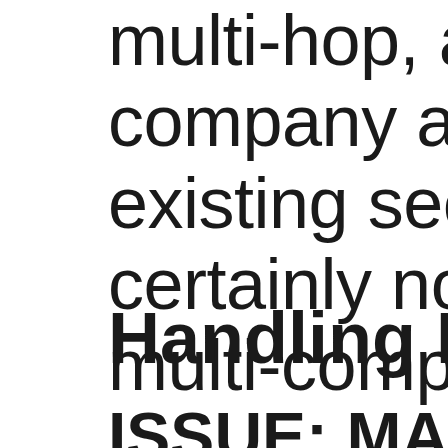multi-hop, and they company and organ existing security sys certainly not design multi-company inte
Handling Multi-H
ISSUE: MAINTAI